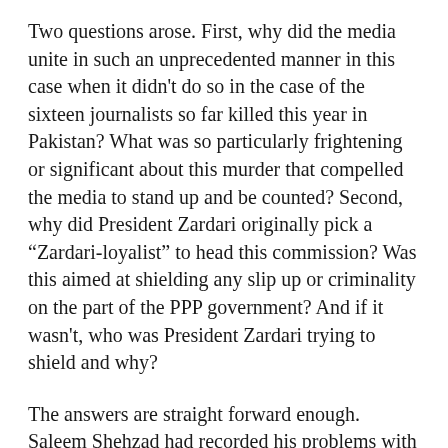Two questions arose. First, why did the media unite in such an unprecedented manner in this case when it didn't do so in the case of the sixteen journalists so far killed this year in Pakistan? What was so particularly frightening or significant about this murder that compelled the media to stand up and be counted? Second, why did President Zardari originally pick a “Zardari-loyalist” to head this commission? Was this aimed at shielding any slip up or criminality on the part of the PPP government? And if it wasn't, who was President Zardari trying to shield and why?
The answers are straight forward enough. Saleem Shehzad had recorded his problems with the ISI and left a testament indicting it if he was harmed. He was writing a book exposing the inroads into the armed forces and ISI made by retired or serving officers sympathetic to Al Qaeda’s violent ideology. Such exposure was deemed irrevocably embarrassing to the national security establishment. It explained the lack of preparedness on the part of the military to defend and protect